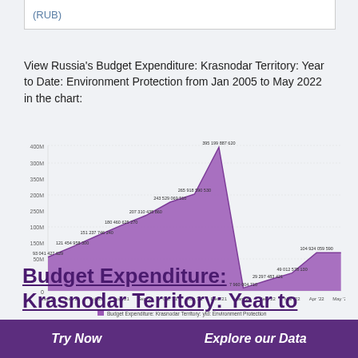(RUB)
View Russia's Budget Expenditure: Krasnodar Territory: Year to Date: Environment Protection from Jan 2005 to May 2022 in the chart:
[Figure (area-chart): Budget Expenditure: Krasnodar Territory: ytd: Environment Protection]
Budget Expenditure: Krasnodar Territory: Year to
Try Now   Explore our Data